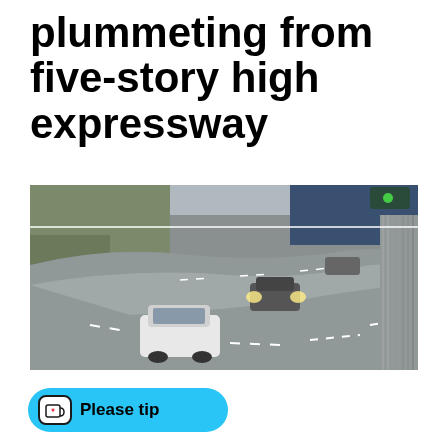plummeting from five-story high expressway
[Figure (photo): CCTV surveillance footage of a multi-lane elevated expressway showing several vehicles including a white SUV and another car with headlights on, taken from an overhead camera angle]
Please tip